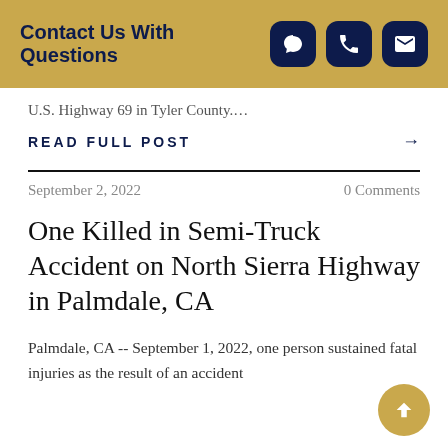Contact Us With Questions
U.S. Highway 69 in Tyler County....
READ FULL POST →
September 2, 2022    0 Comments
One Killed in Semi-Truck Accident on North Sierra Highway in Palmdale, CA
Palmdale, CA -- September 1, 2022, one person sustained fatal injuries as the result of an accident